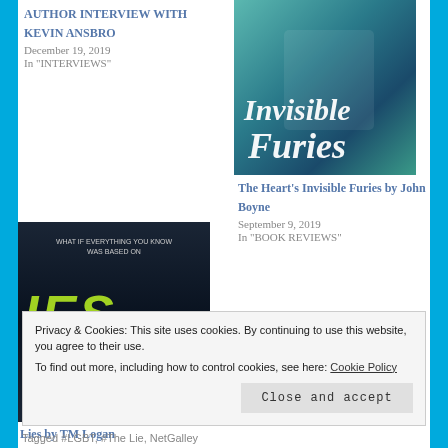AUTHOR INTERVIEW WITH KEVIN ANSBRO
December 19, 2019
In "INTERVIEWS"
[Figure (photo): Book cover of The Heart's Invisible Furies by John Boyne]
The Heart's Invisible Furies by John Boyne
September 9, 2019
In "BOOK REVIEWS"
[Figure (photo): Book cover of Lies by TM Logan]
Lies by TM Logan
Privacy & Cookies: This site uses cookies. By continuing to use this website, you agree to their use. To find out more, including how to control cookies, see here: Cookie Policy
Close and accept
Tagged #LGBT, #The Lie, NetGalley